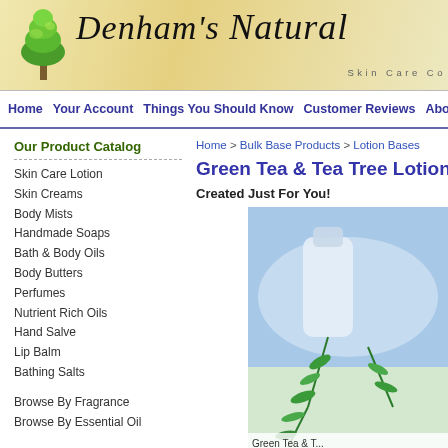[Figure (logo): Denham's Natural Skin Care Co. header banner with green tree logo and cursive script text on a warm yellow-cream gradient background]
Home  Your Account  Things You Should Know  Customer Reviews  Abo
Our Product Catalog
Skin Care Lotion
Skin Creams
Body Mists
Handmade Soaps
Bath & Body Oils
Body Butters
Perfumes
Nutrient Rich Oils
Hand Salve
Lip Balm
Bathing Salts
Browse By Fragrance
Browse By Essential Oil
Wholesale Pricing & Options
Bulk Base Products
Build Your Own Products
Home > Bulk Base Products > Lotion Bases
Green Tea & Tea Tree Lotion 5 Ga
Created Just For You!
[Figure (photo): Product photo showing a lotion bottle with green tea tree sprigs against a blue-sky background. Caption: Green Tea & T...]